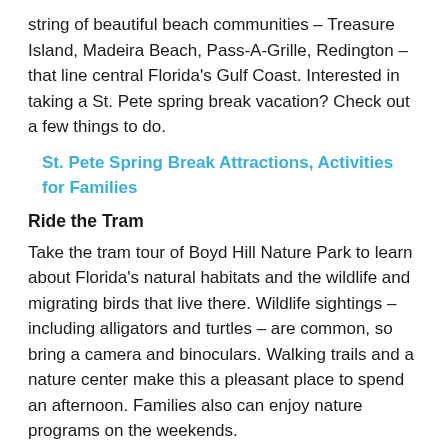string of beautiful beach communities – Treasure Island, Madeira Beach, Pass-A-Grille, Redington – that line central Florida's Gulf Coast. Interested in taking a St. Pete spring break vacation? Check out a few things to do.
St. Pete Spring Break Attractions, Activities for Families
Ride the Tram
Take the tram tour of Boyd Hill Nature Park to learn about Florida's natural habitats and the wildlife and migrating birds that live there. Wildlife sightings – including alligators and turtles – are common, so bring a camera and binoculars. Walking trails and a nature center make this a pleasant place to spend an afternoon. Families also can enjoy nature programs on the weekends.
Explore Sunken Gardens
A botanical paradise in the midst of the city, St. Petersburg's